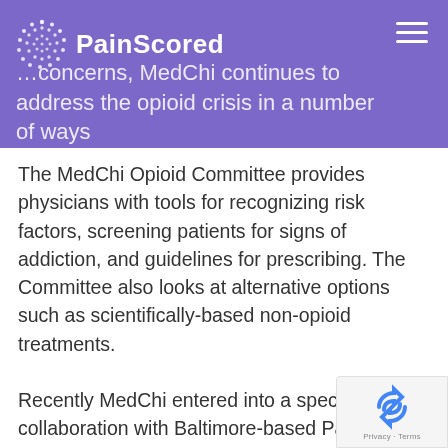PainScored — concerns, MedChi continues to address the opioid crisis in a number of ways
The MedChi Opioid Committee provides physicians with tools for recognizing risk factors, screening patients for signs of addiction, and guidelines for prescribing. The Committee also looks at alternative options such as scientifically-based non-opioid treatments.
Recently MedChi entered into a special collaboration with Baltimore-based Patient Premier which will give Maryland physicians access to Pain Scored, a unique remote